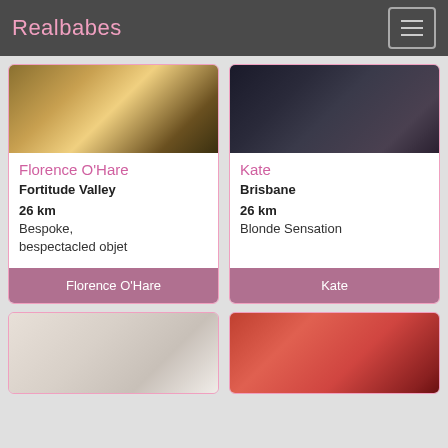Realbabes
[Figure (photo): Top image of Florence O'Hare listing — warm golden lit interior space]
[Figure (photo): Top image of Kate listing — dark bedroom scene]
Florence O'Hare
Fortitude Valley
26 km
Bespoke, bespectacled objet
Florence O'Hare
Kate
Brisbane
26 km
Blonde Sensation
Kate
[Figure (photo): Bottom left card — woman with reddish-brown hair in a white interior]
[Figure (photo): Bottom right card — woman in red dress holding a phone, selfie mirror]